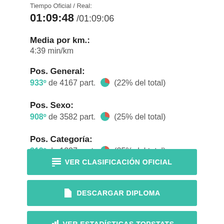Tiempo Oficial / Real: 01:09:48 / 01:09:06
Media por km.: 4:39 min/km
Pos. General: 933º de 4167 part. (22% del total)
Pos. Sexo: 908º de 3582 part. (25% del total)
Pos. Categoría: 312º de 1227 part. (25% del total)
VER CLASIFICACIÓN OFICIAL
DESCARGAR DIPLOMA
VER ESTADÍSTICAS TOPSTATS